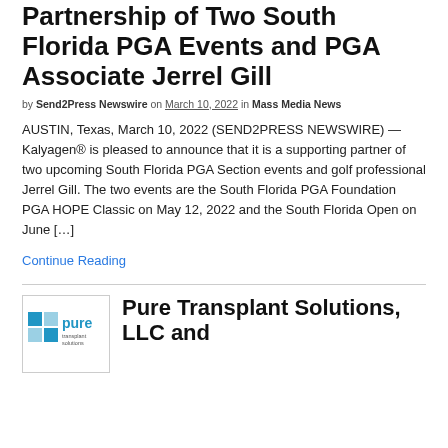Partnership of Two South Florida PGA Events and PGA Associate Jerrel Gill
by Send2Press Newswire on March 10, 2022 in Mass Media News
AUSTIN, Texas, March 10, 2022 (SEND2PRESS NEWSWIRE) — Kalyagen® is pleased to announce that it is a supporting partner of two upcoming South Florida PGA Section events and golf professional Jerrel Gill. The two events are the South Florida PGA Foundation PGA HOPE Classic on May 12, 2022 and the South Florida Open on June […]
Continue Reading
[Figure (logo): Pure Transplant Solutions logo — blue checkered squares with 'pure' text and 'transplant solutions' subtitle]
Pure Transplant Solutions, LLC and